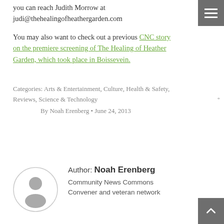you can reach Judith Morrow at judi@thehealingofheathergarden.com
You may also want to check out a previous CNC story on the premiere screening of The Healing of Heather Garden, which took place in Boissevein.
Categories: Arts & Entertainment, Culture, Health & Safety, Reviews, Science & Technology
By Noah Erenberg • June 24, 2013
[Figure (illustration): Circular avatar placeholder icon showing a generic person silhouette in gray on white background with gray circle border]
Author: Noah Erenberg
Community News Commons
Convener and veteran network